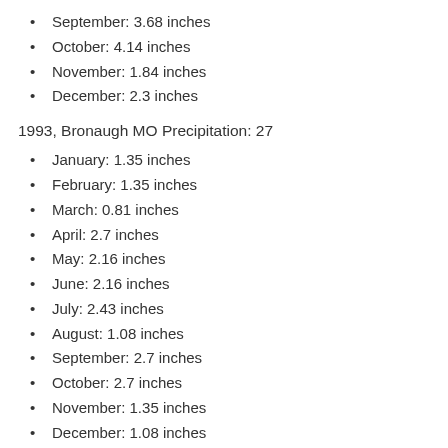September: 3.68 inches
October: 4.14 inches
November: 1.84 inches
December: 2.3 inches
1993, Bronaugh MO Precipitation: 27
January: 1.35 inches
February: 1.35 inches
March: 0.81 inches
April: 2.7 inches
May: 2.16 inches
June: 2.16 inches
July: 2.43 inches
August: 1.08 inches
September: 2.7 inches
October: 2.7 inches
November: 1.35 inches
December: 1.08 inches